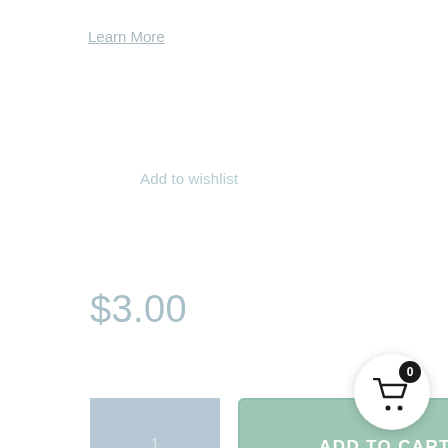Learn More
Add to wishlist
$3.00
[Figure (screenshot): Quantity input box showing '1' and an 'ADD TO CART' button in muted green]
Add to wishlist
These are SEEDS not Plants ×
[Figure (other): Shopping cart icon in a white circle bubble with a '0' badge]